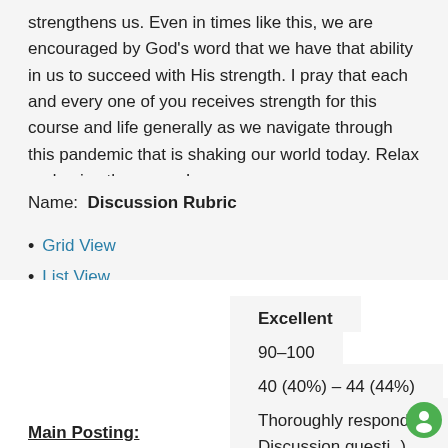strengthens us. Even in times like this, we are encouraged by God's word that we have that ability in us to succeed with His strength. I pray that each and every one of you receives strength for this course and life generally as we navigate through this pandemic that is shaking our world today. Relax and enjoy the course!
Name:  Discussion Rubric
Grid View
List View
Excellent
90–100
40 (40%) – 44 (44%)
Thoroughly responds to Discussion questi(o).
Main Posting: